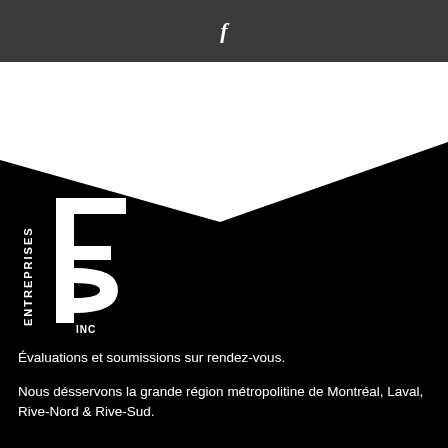f
[Figure (logo): Entreprises FP Inc logo — white stylized letters FP with vertical lines, with text ENTREPRISES vertically on the left and INC below, on black background]
Évaluations et soumissions sur rendez-vous.
Nous désservons la grande région métropolitine de Montréal, Laval, Rive-Nord & Rive-Sud.